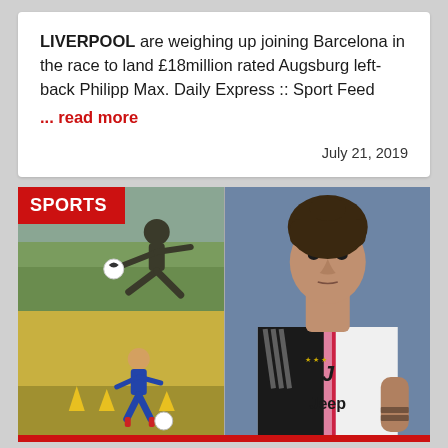LIVERPOOL are weighing up joining Barcelona in the race to land £18million rated Augsburg left-back Philipp Max. Daily Express :: Sport Feed
... read more
July 21, 2019
[Figure (photo): Sports section showing two football/soccer images on the left (a player in dark kit performing an acrobatic kick, and a player in blue and yellow training kit) and a close-up of a footballer in Juventus Jeep-sponsored white and black kit on the right. SPORTS label overlay in red top-left.]